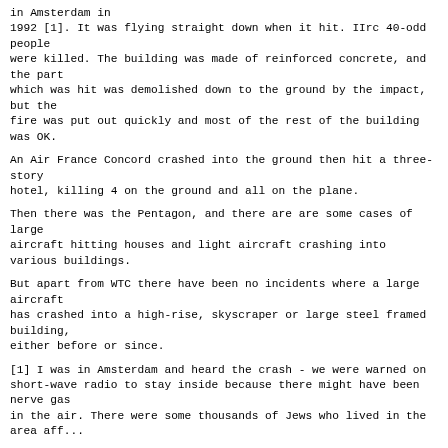in Amsterdam in
1992 [1]. It was flying straight down when it hit. IIrc 40-odd people
were killed. The building was made of reinforced concrete, and the part
which was hit was demolished down to the ground by the impact, but the
fire was put out quickly and most of the rest of the building was OK.
An Air France Concord crashed into the ground then hit a three-story
hotel, killing 4 on the ground and all on the plane.
Then there was the Pentagon, and there are are some cases of large
aircraft hitting houses and light aircraft crashing into various buildings.
But apart from WTC there have been no incidents where a large aircraft
has crashed into a high-rise, skyscraper or large steel framed building,
either before or since.
[1] I was in Amsterdam and heard the crash - we were warned on
short-wave radio to stay inside because there might have been nerve gas
in the air. There were some thousands of Jews who lived in the area affected...